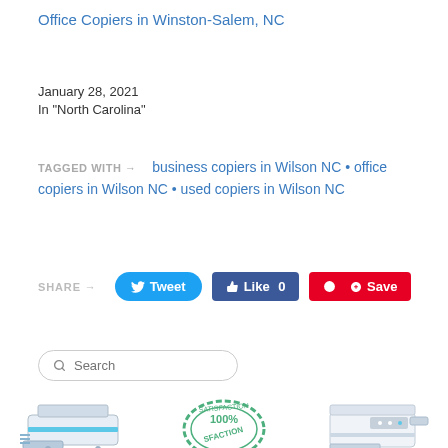Office Copiers in Winston-Salem, NC
January 28, 2021
In "North Carolina"
TAGGED WITH → business copiers in Wilson NC • office copiers in Wilson NC • used copiers in Wilson NC
SHARE → Tweet  Like 0  Save
Search
[Figure (photo): Three images at bottom: office copier on left, 100% Satisfaction stamp in center, office copier on right]